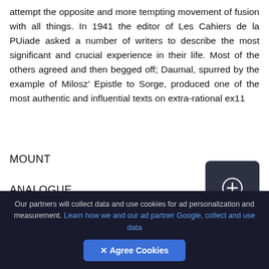attempt the opposite and more tempting movement of fusion with all things. In 1941 the editor of Les Cahiers de la PUiade asked a number of writers to describe the most significant and crucial experience in their life. Most of the others agreed and then begged off; Daumal, spurred by the example of Milosz’ Epistle to Sorge, produced one of the most authentic and influential texts on extra-rational ex11
MOUNT
ANALOGUE
perience written in this century. In a bare dozen
Our partners will collect data and use cookies for ad personalization and measurement. Learn how we and our ad partner Google, collect and use data
✕ Agree Cookies